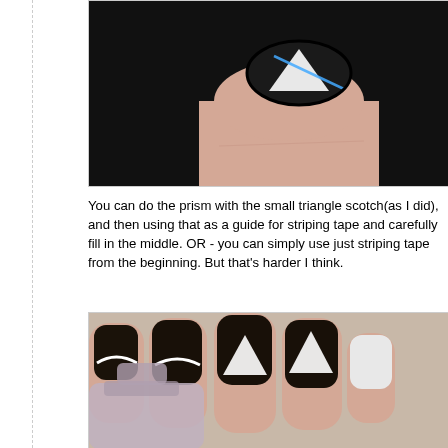[Figure (photo): Close-up of a finger with a nail painted black with white triangle/prism design and blue striping tape being applied]
You can do the prism with the small triangle scotch(as I did), and then using that as a guide for striping tape and carefully fill in the middle. OR - you can simply use just striping tape from the beginning. But that's harder I think.
[Figure (photo): Hand with multiple nails painted black with white prism/triangle nail art designs, holding a nail polish bottle]